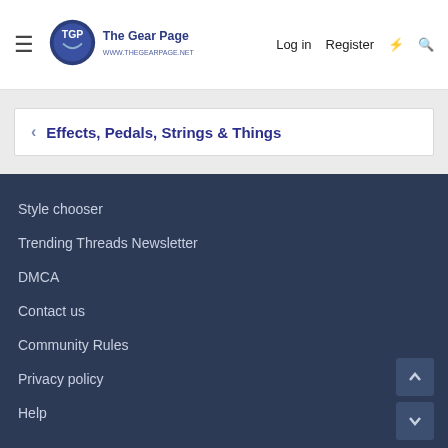The Gear Page — Log in | Register
< Effects, Pedals, Strings & Things
Style chooser
Trending Threads Newsletter
DMCA
Contact us
Community Rules
Privacy policy
Help